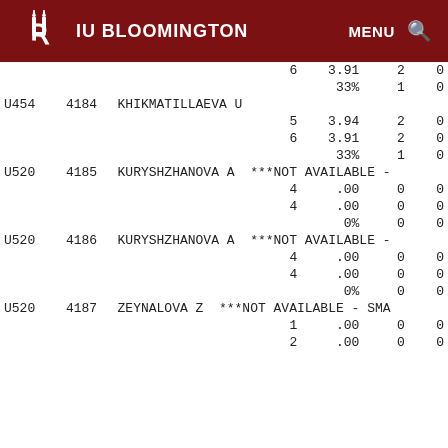IU BLOOMINGTON  MENU  🔍
| Code | ID | Name | N1 | N2 | N3 | N4 |
| --- | --- | --- | --- | --- | --- | --- |
|  |  |  | 6 | 3.91 | 2 | 0 |
|  |  |  |  | 33% | 1 | 0 |
| U454 | 4184 | KHIKMATILLAEVA U |  |  |  |  |
|  |  |  | 5 | 3.94 | 2 | 0 |
|  |  |  | 6 | 3.91 | 2 | 0 |
|  |  |  |  | 33% | 1 | 0 |
| U520 | 4185 | KURYSHZHANOVA A | ***NOT | AVAILABLE | - |  |
|  |  |  | 4 | .00 | 0 | 0 |
|  |  |  | 4 | .00 | 0 | 0 |
|  |  |  |  | 0% | 0 | 0 |
| U520 | 4186 | KURYSHZHANOVA A | ***NOT | AVAILABLE | - |  |
|  |  |  | 4 | .00 | 0 | 0 |
|  |  |  | 4 | .00 | 0 | 0 |
|  |  |  |  | 0% | 0 | 0 |
| U520 | 4187 | ZEYNALOVA Z | ***NOT | AVAILABLE | - | SMA |
|  |  |  | 1 | .00 | 0 | 0 |
|  |  |  | 2 | .00 | 0 | 0 |